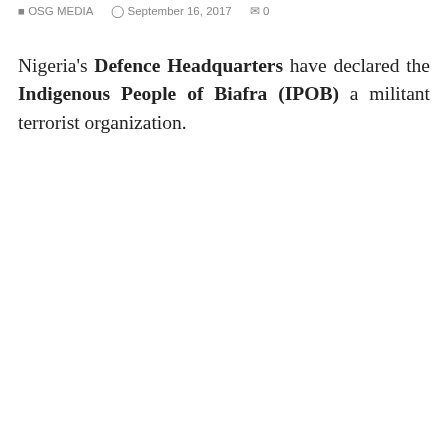OSG MEDIA   September 16, 2017   0
Nigeria's Defence Headquarters have declared the Indigenous People of Biafra (IPOB) a militant terrorist organization.